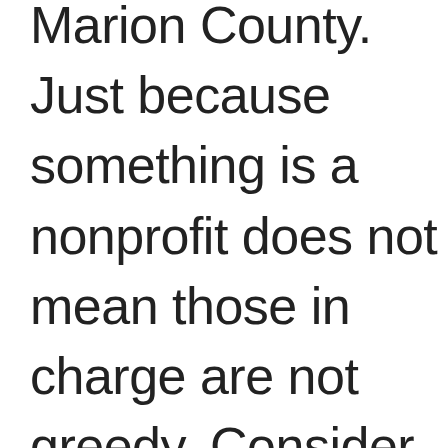Marion County. Just because something is a nonprofit does not mean those in charge are not greedy. Consider the Komen